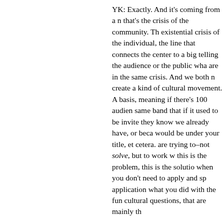YK: Exactly. And it's coming from a need that's the crisis of the community. The existential crisis of the individual, the line that connects the center to a bigger telling the audience or the public what are in the same crisis. And we both need to create a kind of cultural movement. A basis, meaning if there's 100 audien same band that if it used to be invited they know we already have, or beca would be under your title, et cetera. are trying to–not solve, but to work w this is the problem, this is the solutio when you don't need to apply and sp application what you did with the fun cultural questions, that are mainly th
This doesn't mean that we're not app needs support. There has been lots need to depend more and more on t interested in doing only the projects